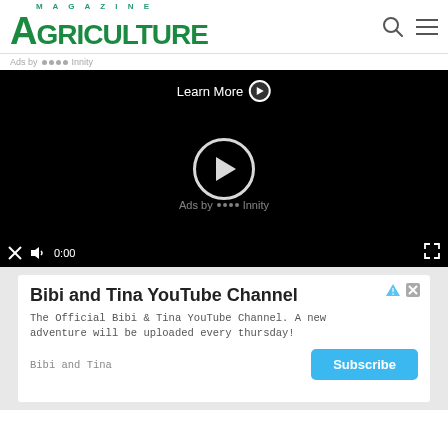AGRICULTURE MAGAZINE
Ads by Innity
[Figure (screenshot): Video player with black background showing 'Learn More' button at top, centered play button circle, 'Ads by Innity' watermark, and video controls bar at bottom showing close/mute icons and 0:00 timestamp]
[Figure (screenshot): Advertisement banner for 'Bibi and Tina YouTube Channel' with title, description text, brand name and Subscribe button]